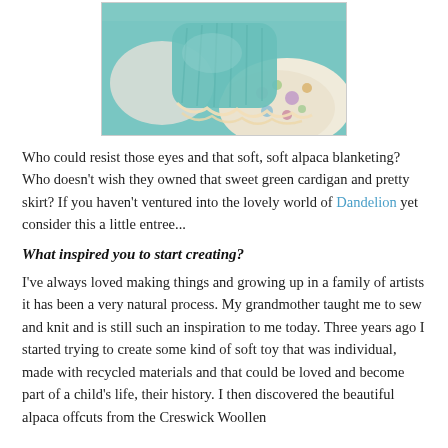[Figure (photo): Close-up photo of knitted teal/mint alpaca blanket and cardigan with a floral skirt on a doll or similar subject]
Who could resist those eyes and that soft, soft alpaca blanketing? Who doesn't wish they owned that sweet green cardigan and pretty skirt? If you haven't ventured into the lovely world of Dandelion yet consider this a little entree...
What inspired you to start creating?
I've always loved making things and growing up in a family of artists it has been a very natural process. My grandmother taught me to sew and knit and is still such an inspiration to me today. Three years ago I started trying to create some kind of soft toy that was individual, made with recycled materials and that could be loved and become part of a child's life, their history. I then discovered the beautiful alpaca offcuts from the Creswick Woollen